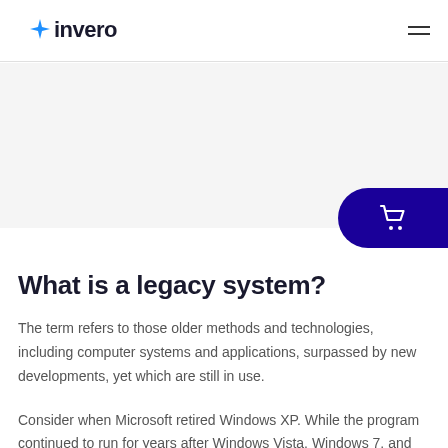invero
[Figure (logo): Invero logo with blue star/sparkle accent and navigation hamburger menu icon]
What is a legacy system?
The term refers to those older methods and technologies, including computer systems and applications, surpassed by new developments, yet which are still in use.
Consider when Microsoft retired Windows XP. While the program continued to run for years after Windows Vista, Windows 7, and their successors came into